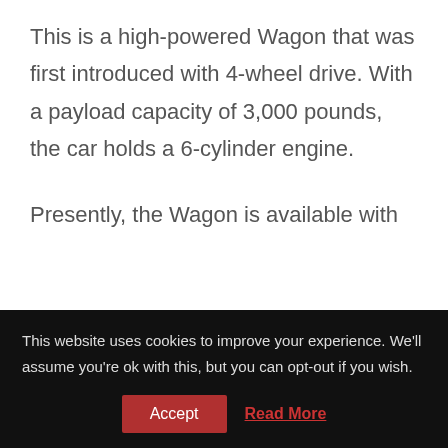This is a high-powered Wagon that was first introduced with 4-wheel drive. With a payload capacity of 3,000 pounds, the car holds a 6-cylinder engine.

Presently, the Wagon is available with
This website uses cookies to improve your experience. We'll assume you're ok with this, but you can opt-out if you wish.